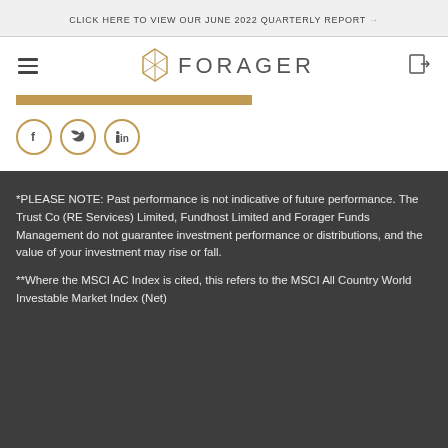CLICK HERE TO VIEW OUR JUNE 2022 QUARTERLY REPORT →
[Figure (logo): Forager Funds Management logo with geometric diamond/polygon icon and text FORAGER in capitals]
[Figure (infographic): Social media share buttons: Facebook (f), Twitter (bird), LinkedIn (in) icons in gold circles]
*PLEASE NOTE: Past performance is not indicative of future performance. The Trust Co (RE Services) Limited, Fundhost Limited and Forager Funds Management do not guarantee investment performance or distributions, and the value of your investment may rise or fall.
**Where the MSCI AC Index is cited, this refers to the MSCI All Country World Investable Market Index (Net)